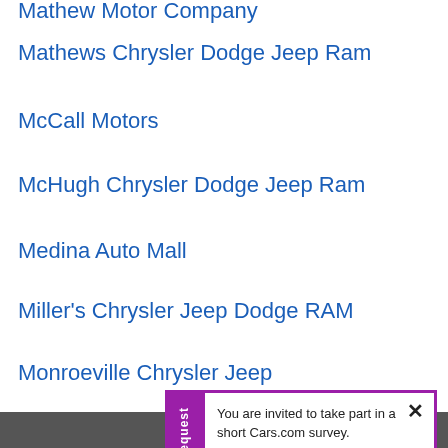Mathew Motor Company
Mathews Chrysler Dodge Jeep Ram
McCall Motors
McHugh Chrysler Dodge Jeep Ram
Medina Auto Mall
Miller's Chrysler Jeep Dodge RAM
Monroeville Chrysler Jeep
Montrose Chrysler Jeep Dodge Ram
Moore Chrysler
Napleton Ellwood City Chry...
New Direct Chrysler Dodge...
Nolf Chrysler-Dodge Inc
North Olmsted Chrysler Jeep D...
Northpointe Chrysler Dodge Jeep Ram
You are invited to take part in a short Cars.com survey.

Upon completion, you'll be entered to win a $50 amazon gift card. Interested?
Click here to participate
Research Request
▲ Back t...